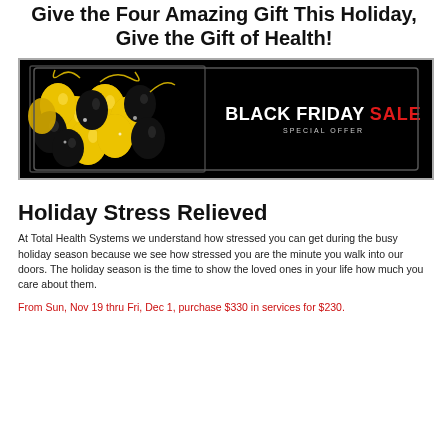Give the Four Amazing Gift This Holiday, Give the Gift of Health!
[Figure (illustration): Black Friday Sale promotional banner with gold and black balloons on the left and 'BLACK FRIDAY SALE SPECIAL OFFER' text on a black background with a rectangular border.]
Holiday Stress Relieved
At Total Health Systems we understand how stressed you can get during the busy holiday season because we see how stressed you are the minute you walk into our doors. The holiday season is the time to show the loved ones in your life how much you care about them.
From Sun, Nov 19 thru Fri, Dec 1, purchase $330 in services for $230.